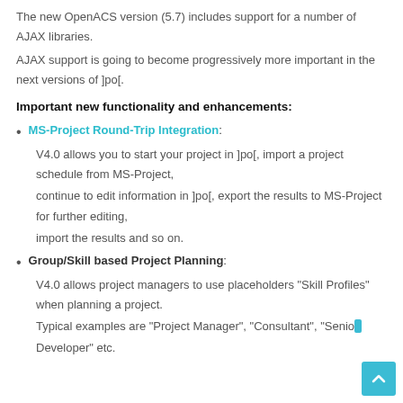The new OpenACS version (5.7) includes support for a number of AJAX libraries.
AJAX support is going to become progressively more important in the next versions of ]po[.
Important new functionality and enhancements:
MS-Project Round-Trip Integration:
V4.0 allows you to start your project in ]po[, import a project schedule from MS-Project, continue to edit information in ]po[, export the results to MS-Project for further editing, import the results and so on.
Group/Skill based Project Planning:
V4.0 allows project managers to use placeholders "Skill Profiles" when planning a project.
Typical examples are "Project Manager", "Consultant", "Senior Developer" etc.